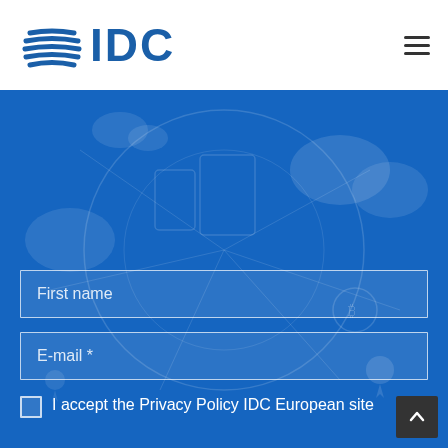[Figure (logo): IDC logo with globe icon and blue text]
[Figure (illustration): Blue technology background with network/IoT icons overlay]
First name
E-mail *
I accept the Privacy Policy IDC European site